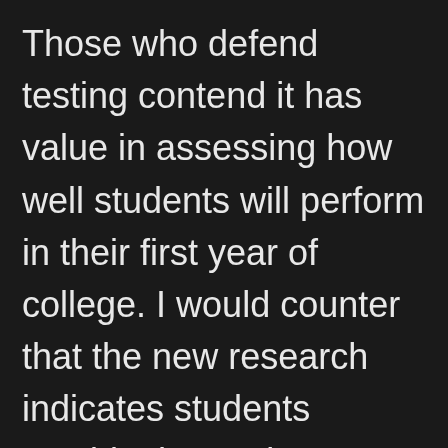Those who defend testing contend it has value in assessing how well students will perform in their first year of college. I would counter that the new research indicates students outside the testing paradigm do fairly well so long as their grades were good in high school. After all, motivation plays a big part in succeeding as